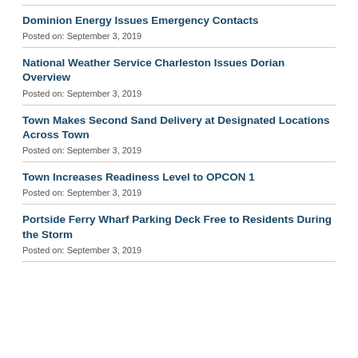Dominion Energy Issues Emergency Contacts
Posted on: September 3, 2019
National Weather Service Charleston Issues Dorian Overview
Posted on: September 3, 2019
Town Makes Second Sand Delivery at Designated Locations Across Town
Posted on: September 3, 2019
Town Increases Readiness Level to OPCON 1
Posted on: September 3, 2019
Portside Ferry Wharf Parking Deck Free to Residents During the Storm
Posted on: September 3, 2019